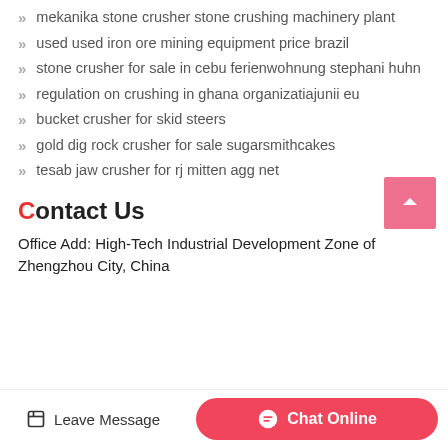mekanika stone crusher stone crushing machinery plant
used used iron ore mining equipment price brazil
stone crusher for sale in cebu ferienwohnung stephani huhn
regulation on crushing in ghana organizatiajunii eu
bucket crusher for skid steers
gold dig rock crusher for sale sugarsmithcakes
tesab jaw crusher for rj mitten agg net
Contact Us
Office Add: High-Tech Industrial Development Zone of Zhengzhou City, China